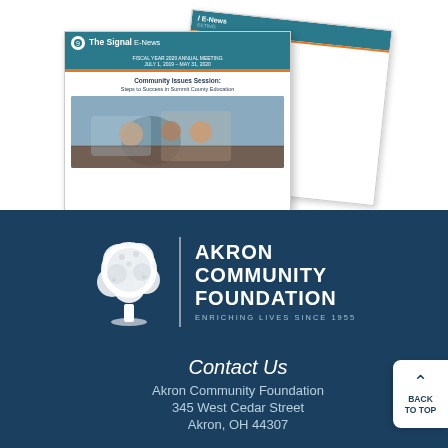[Figure (illustration): Newsletter mockup showing 'The Signal E-News' with headline 'Community Issues Session: Steps to Success in Summit County Education' and photo of students, with a second newsletter partially visible behind it]
[Figure (logo): Akron Community Foundation logo — white tree illustration beside text reading AKRON COMMUNITY FOUNDATION, ENRICHING LIVES SINCE 1955]
Contact Us
Akron Community Foundation
345 West Cedar Street
Akron, OH 44307